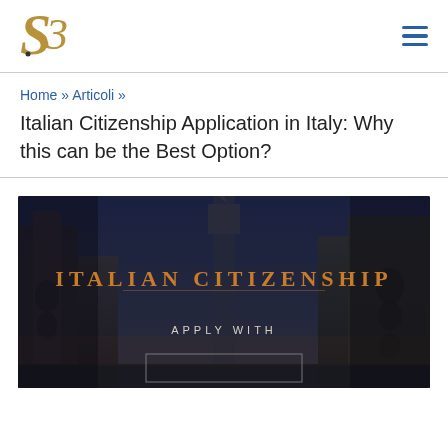[Figure (logo): Stylized S3 logo in gold/tan on white background]
Home » Articoli »
Italian Citizenship Application in Italy: Why this can be the Best Option?
[Figure (photo): Dark night cityscape with Italian architecture (Venice/piazza scene). Overlaid text reads 'ITALIAN CITIZENSHIP' in orange and 'APPLY WITH' in light text below.]